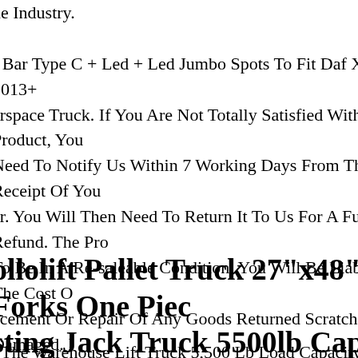ne Industry. f Bar Type C + Led + Led Jumbo Spots To Fit Daf Xf 106 2013+ erspace Truck. If You Are Not Totally Satisfied With Your Product, You Need To Notify Us Within 7 Working Days From The Receipt Of Your er. You Will Then Need To Return It To Us For A Full Refund. The Pro To Be In A Re-saleable Condition. You Will Be Liable For The Cost Of acement Or Repair Of Any Goods Returned Scratched Or Damaged. If Are Returning An Item, You Must Ensure That We Receive It Adequat aged (similar To The Way It Was Delivered To You), Correctly Addres Correct Postage.we Recommend That You Insure The Return Of The . The Customer Must Pay For Return Delivery Costs, However This W Refunded If Reason For Return Is No Fault Of Customer. The Custome t Inform Us Of Any Returns Within 7 Working Days Of Receipt Of ds. Please Check Goods Upon.
ollolift Pallet Truck 27"x48" Forks One Piece sting Jack Truck 5500lb Cap.
t The Warehouse Lift Truck 5,500 Lb Load Capacity One Piece Ca